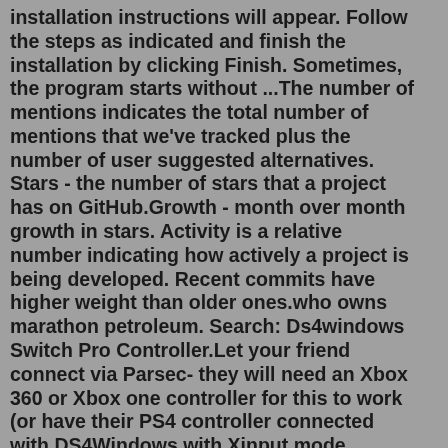installation instructions will appear. Follow the steps as indicated and finish the installation by clicking Finish. Sometimes, the program starts without ...The number of mentions indicates the total number of mentions that we've tracked plus the number of user suggested alternatives. Stars - the number of stars that a project has on GitHub.Growth - month over month growth in stars. Activity is a relative number indicating how actively a project is being developed. Recent commits have higher weight than older ones.who owns marathon petroleum. Search: Ds4windows Switch Pro Controller.Let your friend connect via Parsec- they will need an Xbox 360 or Xbox one controller for this to work (or have their PS4 controller connected with DS4Windows with Xinput mode enabled) Before you pair the Joy-Cons with Windows 10, you need to do a few preparation steps Also, the light on your controller will turn blue if ...DS4Windows (Ryochan7 fork) is described as 'An extract anywhere program that allows you to get the